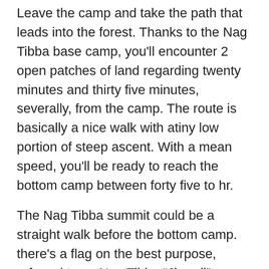Leave the camp and take the path that leads into the forest. Thanks to the Nag Tibba base camp, you’ll encounter 2 open patches of land regarding twenty minutes and thirty five minutes, severally, from the camp. The route is basically a nice walk with atiny low portion of steep ascent. With a mean speed, you’ll be ready to reach the bottom camp between forty five to hr.
The Nag Tibba summit could be a straight walk before the bottom camp. there’s a flag on the best purpose, referred to as Nag Tibba “Jhandi” or summit. From here, you’ll be ready to see beautiful 360-degree views of the mighty range mountains as well as Bandarpoonch, Kala Nag, Srikanta, and Gangotri
While returning, take the route to Bhatwadi. you’ll conjointly come via Panthwari however it’ll be attention-grabbing to explore an alternate route. Regarding forty